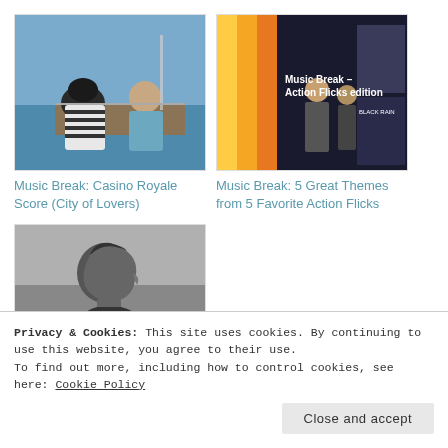[Figure (photo): Two people sitting on a boat on water, one wearing a striped shirt, viewed from behind]
[Figure (screenshot): Promotional image for 'Music Break – Action Flicks edition' showing movie posters including Black Rain]
Music Break: Casino Royale Score (City of Lovers)
Music Break: 5 Great Themes from 5 Favorite Action Flicks
[Figure (photo): Black and white photo of an elderly man in profile looking to the right]
Privacy & Cookies: This site uses cookies. By continuing to use this website, you agree to their use.
To find out more, including how to control cookies, see here: Cookie Policy
Close and accept